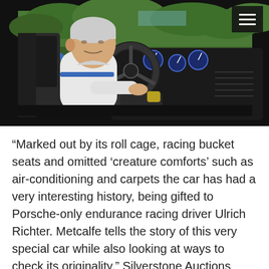[Figure (photo): A man in a white shirt leans into the interior of a racing car, examining the dashboard area. The car has a blue roll cage, Recaro-style racing bucket seat, a steering wheel, and a sport dashboard. Trees are visible in the background through the open car door.]
“Marked out by its roll cage, racing bucket seats and omitted ‘creature comforts’ such as air-conditioning and carpets the car has had a very interesting history, being gifted to Porsche-only endurance racing driver Ulrich Richter. Metcalfe tells the story of this very special car while also looking at ways to check its originality,” Silverstone Auctions said.